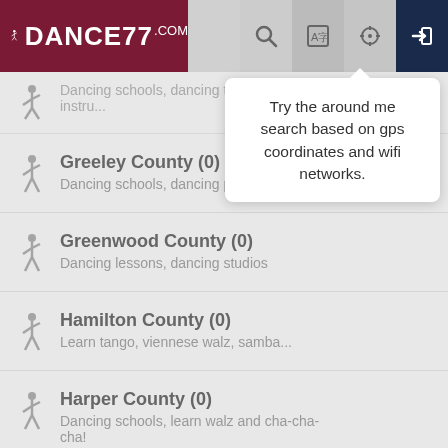[Figure (screenshot): Dance77.com website header with logo on dark red background and navigation icons (search, translate, location, login) on right side]
Try the around me search based on gps coordinates and wifi networks.
Dancing schools, dancing teachers, instru...
Greeley County (0)
Dancing schools, dancing places
Greenwood County (0)
Dancing lessons, dancing studios
Hamilton County (0)
Learn tango, viennese walz, samba...
Harper County (0)
Dancing schools, learn walz and cha-cha-cha!